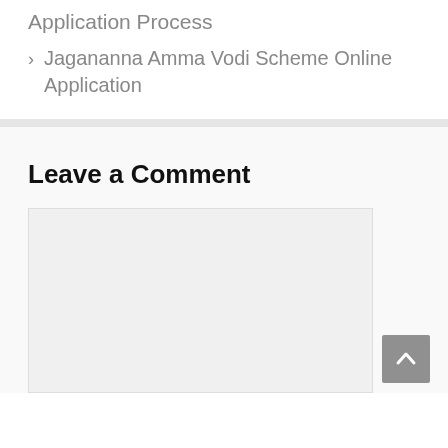Application Process
> Jagananna Amma Vodi Scheme Online Application
Leave a Comment